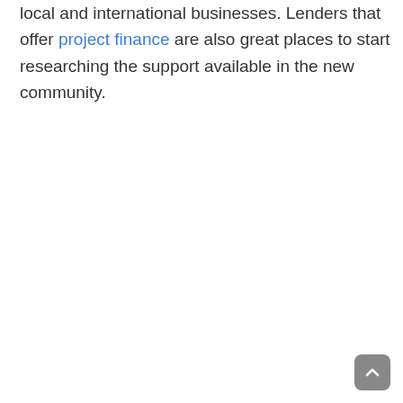local and international businesses. Lenders that offer project finance are also great places to start researching the support available in the new community.